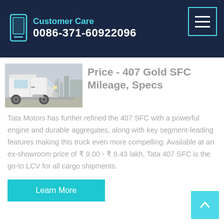Customer Care
0086-371-60922096
[Figure (photo): A white heavy-duty truck/semi-truck cab photographed outdoors with a hazy sky background]
Price - 407 Gold SFC Mileage, Specs
Tata Motors has further refined the 407 SFC with a powerful engine and durable aggregates, along with key segment-leading features making this truck even more compelling. Available at an ex-showroom price of ₹ 9.00 - ₹ 9.43 lakh, Tata 407 SFC is the go-to LCV for all cargo shipments.
Learn More